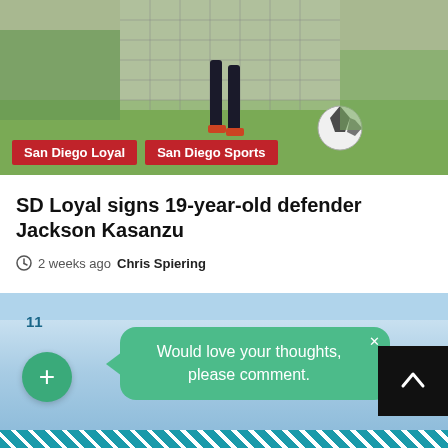[Figure (photo): Soccer player near a goal net with a football, outdoor field setting]
San Diego Loyal  San Diego Sports
SD Loyal signs 19-year-old defender Jackson Kasanzu
2 weeks ago  Chris Spiering
11
Would love your thoughts, please comment.